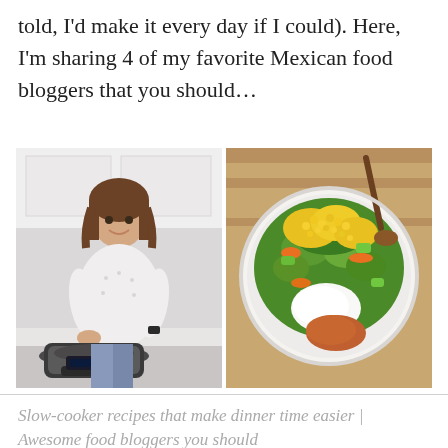told, I'd make it every day if I could). Here, I'm sharing 4 of my favorite Mexican food bloggers that you should…
[Figure (photo): Two side-by-side photos: left shows a woman smiling in a white kitchen standing next to an Instant Pot pressure cooker on a counter; right shows an overhead view of a large salad bowl with corn, greens, carrots, cucumber, white dressing, and seasoned meat.]
Slow-cooker recipes that make dinner time easier | Awesome food bloggers you should be following